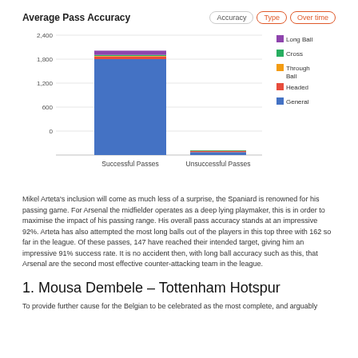Average Pass Accuracy
[Figure (stacked-bar-chart): Average Pass Accuracy]
Mikel Arteta's inclusion will come as much less of a surprise, the Spaniard is renowned for his passing game. For Arsenal the midfielder operates as a deep lying playmaker, this is in order to maximise the impact of his passing range. His overall pass accuracy stands at an impressive 92%. Arteta has also attempted the most long balls out of the players in this top three with 162 so far in the league. Of these passes, 147 have reached their intended target, giving him an impressive 91% success rate. It is no accident then, with long ball accuracy such as this, that Arsenal are the second most effective counter-attacking team in the league.
1. Mousa Dembele – Tottenham Hotspur
To provide further cause for the Belgian to be celebrated as the most complete, and arguably